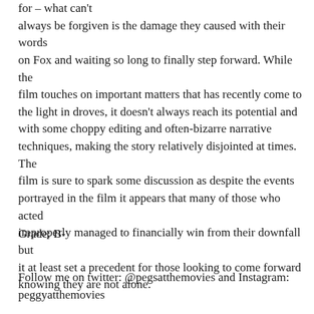for – what can't always be forgiven is the damage they caused with their words on Fox and waiting so long to finally step forward. While the film touches on important matters that has recently come to the light in droves, it doesn't always reach its potential and with some choppy editing and often-bizarre narrative techniques, making the story relatively disjointed at times. The film is sure to spark some discussion as despite the events portrayed in the film it appears that many of those who acted improperly managed to financially win from their downfall but it at least set a precedent for those looking to come forward knowing they are not alone.
Grade: B-
Follow me on twitter: @pegsatthemovies and Instagram: peggyatthemovies